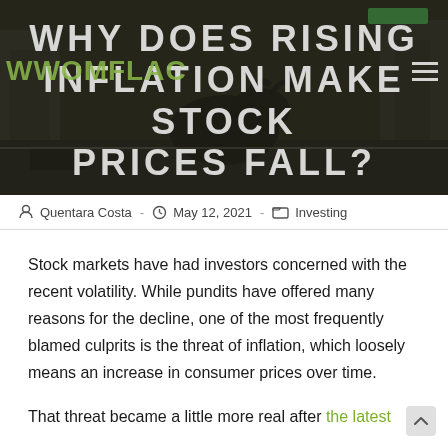[Figure (photo): Hero image of the Wall Street bull statue with dark overlay, showing text 'WHY DOES RISING INFLATION MAKE STOCK PRICES FALL?' and 'WWOMFLAC' site branding in green on the left]
Quentara Costa  -  May 12, 2021  -  Investing
Stock markets have had investors concerned with the recent volatility. While pundits have offered many reasons for the decline, one of the most frequently blamed culprits is the threat of inflation, which loosely means an increase in consumer prices over time.
That threat became a little more real after the latest